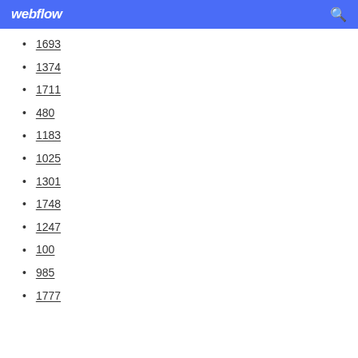webflow
1693
1374
1711
480
1183
1025
1301
1748
1247
100
985
1777